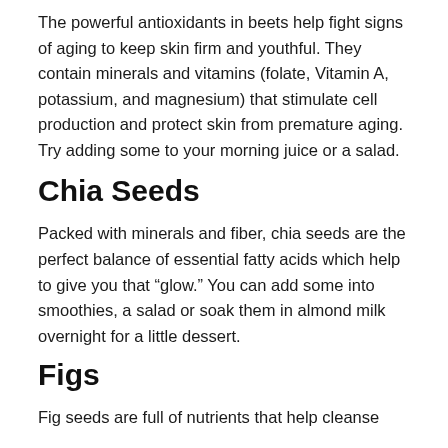The powerful antioxidants in beets help fight signs of aging to keep skin firm and youthful. They contain minerals and vitamins (folate, Vitamin A, potassium, and magnesium) that stimulate cell production and protect skin from premature aging. Try adding some to your morning juice or a salad.
Chia Seeds
Packed with minerals and fiber, chia seeds are the perfect balance of essential fatty acids which help to give you that “glow.” You can add some into smoothies, a salad or soak them in almond milk overnight for a little dessert.
Figs
Fig seeds are full of nutrients that help cleanse